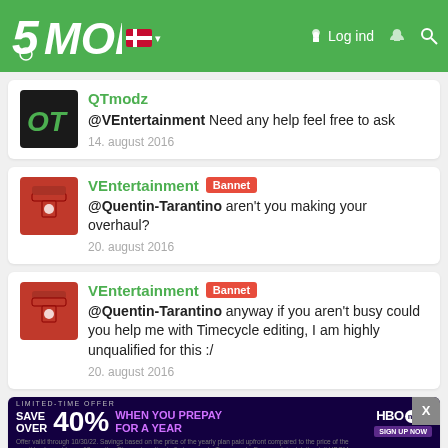5MODS — Log ind
QTmodz
@VEntertainment Need any help feel free to ask
14. august 2016
VEntertainment [Bannet]
@Quentin-Tarantino aren't you making your overhaul?
20. august 2016
VEntertainment [Bannet]
@Quentin-Tarantino anyway if you aren't busy could you help me with Timecycle editing, I am highly unqualified for this :/
20. august 2016
QTmodz
[Figure (screenshot): HBO Max advertisement banner: SAVE OVER 40% WHEN YOU PREPAY FOR A YEAR]